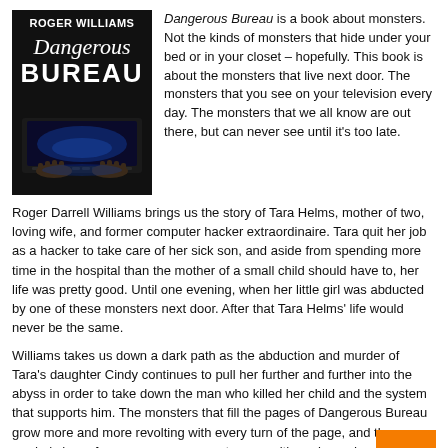[Figure (illustration): Book cover for 'Dangerous Bureau' by Roger Williams. Dark background showing hands on a laptop keyboard with a blue glowing screen. Title in white text.]
Dangerous Bureau is a book about monsters. Not the kinds of monsters that hide under your bed or in your closet – hopefully. This book is about the monsters that live next door. The monsters that you see on your television every day. The monsters that we all know are out there, but can never see until it's too late.
Roger Darrell Williams brings us the story of Tara Helms, mother of two, loving wife, and former computer hacker extraordinaire. Tara quit her job as a hacker to take care of her sick son, and aside from spending more time in the hospital than the mother of a small child should have to, her life was pretty good. Until one evening, when her little girl was abducted by one of these monsters next door. After that Tara Helms' life would never be the same.
Williams takes us down a dark path as the abduction and murder of Tara's daughter Cindy continues to pull her further and further into the abyss in order to take down the man who killed her child and the system that supports him. The monsters that fill the pages of Dangerous Bureau grow more and more revolting with every turn of the page, and the reader's hope for vengeance grows stronger with each word.